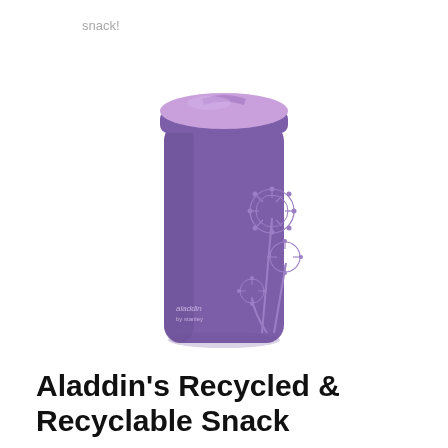snack!
[Figure (photo): Purple Aladdin recycled and recyclable snack container/travel mug with a pink/lilac lid. The mug is tall and cylindrical with a floral allium/dandelion design printed on the right side in lighter purple. The Aladdin brand logo is visible near the bottom left of the container.]
Aladdin's Recycled & Recyclable Snack